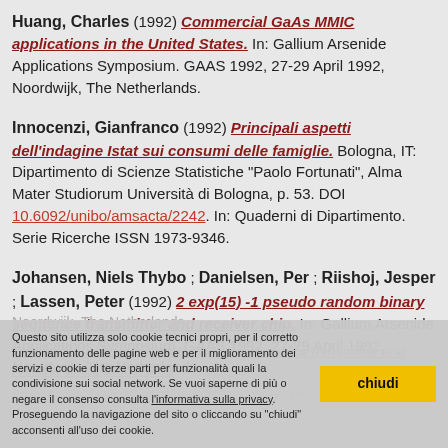Huang, Charles (1992) Commercial GaAs MMIC applications in the United States. In: Gallium Arsenide Applications Symposium. GAAS 1992, 27-29 April 1992, Noordwijk, The Netherlands.
Innocenzi, Gianfranco (1992) Principali aspetti dell'indagine Istat sui consumi delle famiglie. Bologna, IT: Dipartimento di Scienze Statistiche "Paolo Fortunati", Alma Mater Studiorum Università di Bologna, p. 53. DOI 10.6092/unibo/amsacta/2242. In: Quaderni di Dipartimento. Serie Ricerche ISSN 1973-9346.
Johansen, Niels Thybo ; Danielsen, Per ; Riishoj, Jesper ; Lassen, Peter (1992) 2 exp(15) -1 pseudo random binary sequence transmitter and receiver chip. In: Gallium Arsenide Applications Symposium. GAAS 1992, 27-29 April 1992, Noordwijk, The Netherlands.